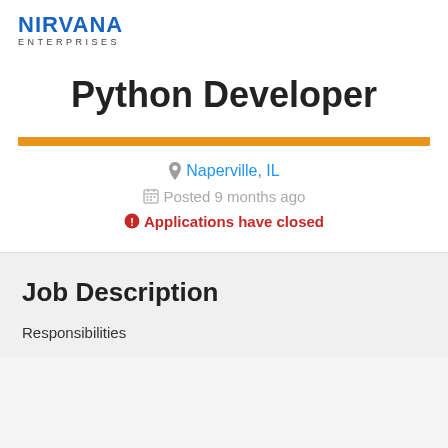[Figure (logo): Nirvana Enterprises company logo with bold blue NIRVANA text and ENTERPRISES in spaced gray letters below]
Python Developer
Naperville, IL
Posted 9 months ago
Applications have closed
Job Description
Responsibilities